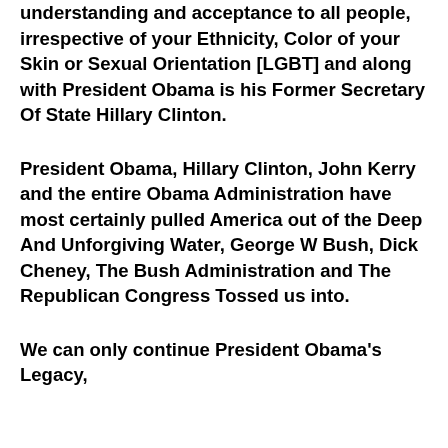understanding and acceptance to all people, irrespective of your Ethnicity, Color of your Skin or Sexual Orientation [LGBT] and along with President Obama is his Former Secretary Of State Hillary Clinton.
President Obama, Hillary Clinton, John Kerry and the entire Obama Administration have most certainly pulled America out of the Deep And Unforgiving Water, George W Bush, Dick Cheney, The Bush Administration and The Republican Congress Tossed us into.
We can only continue President Obama's Legacy,